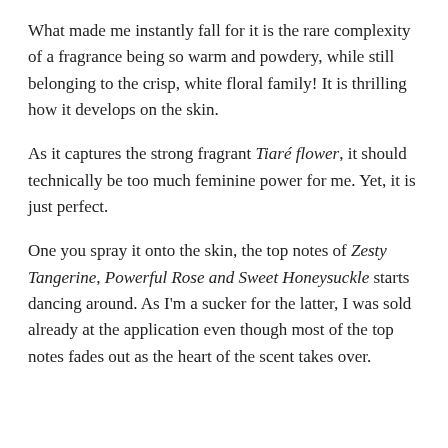What made me instantly fall for it is the rare complexity of a fragrance being so warm and powdery, while still belonging to the crisp, white floral family! It is thrilling how it develops on the skin.
As it captures the strong fragrant Tiaré flower, it should technically be too much feminine power for me. Yet, it is just perfect.
One you spray it onto the skin, the top notes of Zesty Tangerine, Powerful Rose and Sweet Honeysuckle starts dancing around. As I'm a sucker for the latter, I was sold already at the application even though most of the top notes fades out as the heart of the scent takes over.